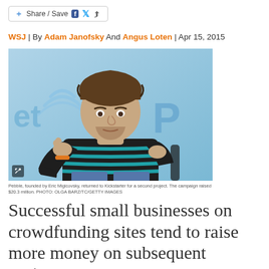Share / Save
WSJ | By Adam Janofsky And Angus Loten | Apr 15, 2015
[Figure (photo): Young man with curly hair wearing a striped sweater, sitting and gesturing with his hands, against a blue background with partial text visible.]
Pebble, founded by Eric Migicovsky, returned to Kickstarter for a second project. The campaign raised $20.3 million. PHOTO: OLGA BARZ/TC/GETTY IMAGES
Successful small businesses on crowdfunding sites tend to raise more money on subsequent projects